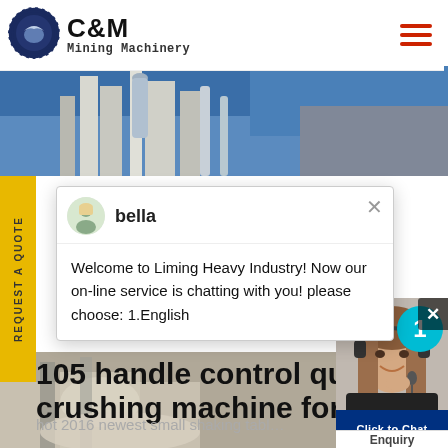[Figure (logo): C&M Mining Machinery logo with eagle in gear circle, dark blue]
C&M Mining Machinery
[Figure (photo): Industrial machinery equipment against blue sky, hero banner image]
[Figure (screenshot): Chat popup with agent 'bella' saying: Welcome to Liming Heavy Industry! Now our on-line service is chatting with you! please choose: 1.English]
[Figure (photo): Customer service representative with headset smiling, with teal badge showing number 1 and Click to Chat bar]
105 handle control qu crushing machine for sa
hot 2016 newest small shaking tabl
Enquiry